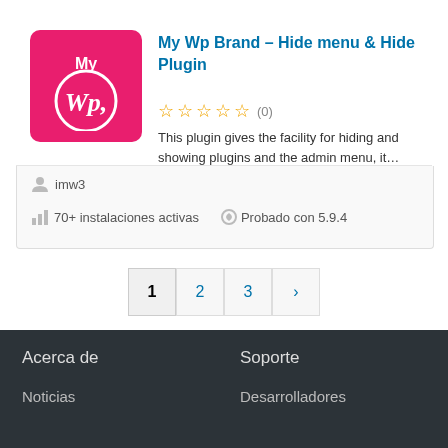[Figure (logo): My WP Brand plugin logo — pink/magenta rounded square with white 'My' text above a stylized 'Wp,' script text]
My Wp Brand – Hide menu & Hide Plugin
☆☆☆☆☆ (0)
This plugin gives the facility for hiding and showing plugins and the admin menu, it…
imw3
70+ instalaciones activas   Probado con 5.9.4
1  2  3  ›
Acerca de
Soporte
Noticias
Desarrolladores